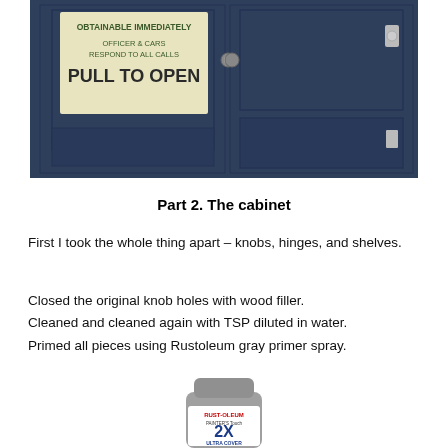[Figure (photo): Photo of a dark navy blue cabinet with a sign reading 'OBTAINABLE IMMEDIATELY OFFICER & CARS RESPOND TO ALL CALLS PULL TO OPEN' on the left door, and black hardware visible on the right door.]
Part 2. The cabinet
First I took the whole thing apart – knobs, hinges, and shelves.
Closed the original knob holes with wood filler.
Cleaned and cleaned again with TSP diluted in water.
Primed all pieces using Rustoleum gray primer spray.
[Figure (photo): Photo of a Rust-Oleum Painter's Touch 2X Ultra Cover Flat Gray spray paint can.]